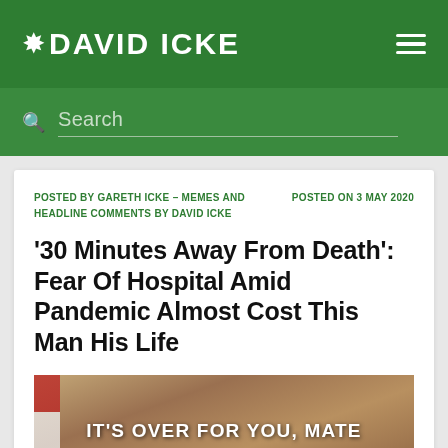DAVID ICKE
Search
POSTED BY GARETH ICKE – MEMES AND HEADLINE COMMENTS BY DAVID ICKE
POSTED ON 3 MAY 2020
'30 Minutes Away From Death': Fear Of Hospital Amid Pandemic Almost Cost This Man His Life
[Figure (photo): Photo of a person with text overlay reading 'IT'S OVER FOR YOU, MATE' with what appears to be a flag visible on the left side]